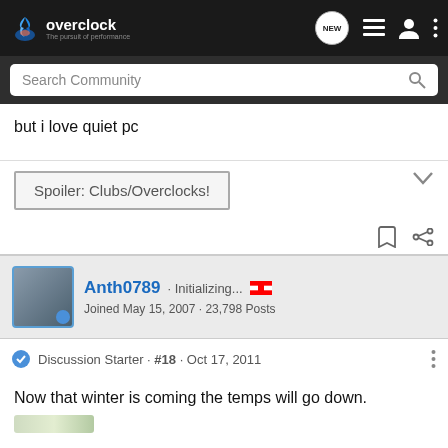overclock - The pursuit of performance
but i love quiet pc
Spoiler: Clubs/Overclocks!
Anth0789 · Initializing... · Joined May 15, 2007 · 23,798 Posts
Discussion Starter · #18 · Oct 17, 2011
Now that winter is coming the temps will go down.